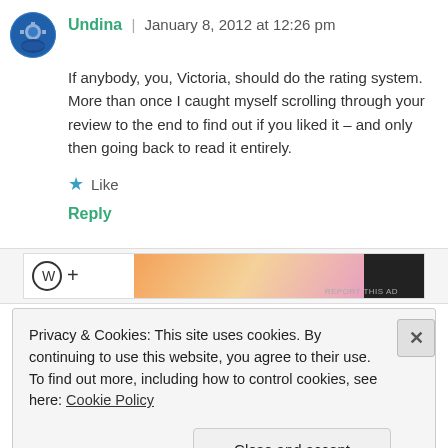Undina | January 8, 2012 at 12:26 pm
If anybody, you, Victoria, should do the rating system. More than once I caught myself scrolling through your review to the end to find out if you liked it – and only then going back to read it entirely.
Like
Reply
[Figure (other): Partial advertisement banner with logo symbols and gradient orange/pink background]
Privacy & Cookies: This site uses cookies. By continuing to use this website, you agree to their use.
To find out more, including how to control cookies, see here: Cookie Policy
Close and accept